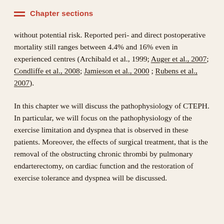Chapter sections
without potential risk. Reported peri- and direct postoperative mortality still ranges between 4.4% and 16% even in experienced centres (Archibald et al., 1999; Auger et al., 2007; Condliffe et al., 2008; Jamieson et al., 2000 ; Rubens et al., 2007).
In this chapter we will discuss the pathophysiology of CTEPH. In particular, we will focus on the pathophysiology of the exercise limitation and dyspnea that is observed in these patients. Moreover, the effects of surgical treatment, that is the removal of the obstructing chronic thrombi by pulmonary endarterectomy, on cardiac function and the restoration of exercise tolerance and dyspnea will be discussed.